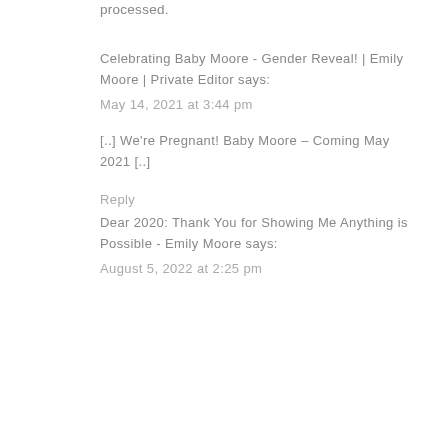processed.
Celebrating Baby Moore - Gender Reveal! | Emily Moore | Private Editor says:
May 14, 2021 at 3:44 pm
[..] We're Pregnant! Baby Moore – Coming May 2021 [..]
Reply
Dear 2020: Thank You for Showing Me Anything is Possible - Emily Moore says:
August 5, 2022 at 2:25 pm